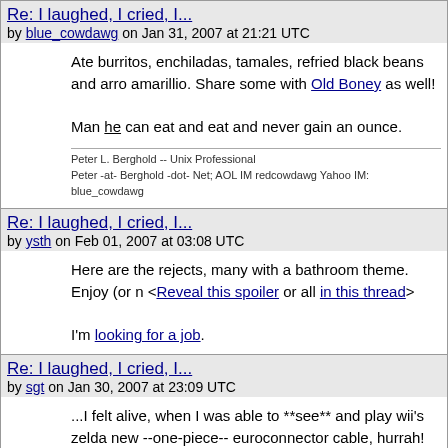Re: I laughed, I cried, I...
by blue_cowdawg on Jan 31, 2007 at 21:21 UTC
Ate burritos, enchiladas, tamales, refried black beans and arro amarillio. Share some with Old Boney as well!

Man he can eat and eat and never gain an ounce.
Peter L. Berghold -- Unix Professional
Peter -at- Berghold -dot- Net; AOL IM redcowdawg Yahoo IM: blue_cowdawg
Re: I laughed, I cried, I...
by ysth on Feb 01, 2007 at 03:08 UTC
Here are the rejects, many with a bathroom theme. Enjoy (or n <Reveal this spoiler or all in this thread>

I'm looking for a job.
Re: I laughed, I cried, I...
by sgt on Jan 30, 2007 at 23:09 UTC
...I felt alive, when I was able to **see** and play wii's zelda new --one-piece-- euroconnector cable, hurrah!

cheers --stephan
Re: I laughed, I cried, I...
by Anonymous Monk on Jan 30, 2007 at 10:21 UTC